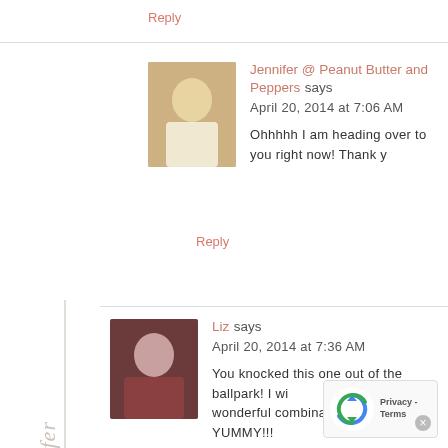Reply
Jennifer @ Peanut Butter and Peppers says
April 20, 2014 at 7:06 AM
Ohhhhh I am heading over to you right now! Thank y
Reply
[Figure (illustration): Cursive signature watermark reading 'follow jennifer' rotated vertically along the left side]
[Figure (photo): Avatar photo of Jennifer, a blonde woman]
Liz says
April 20, 2014 at 7:36 AM
You knocked this one out of the ballpark! I wi wonderful combination flavors! YUMMY!!!
[Figure (other): reCAPTCHA privacy badge with Google logo]